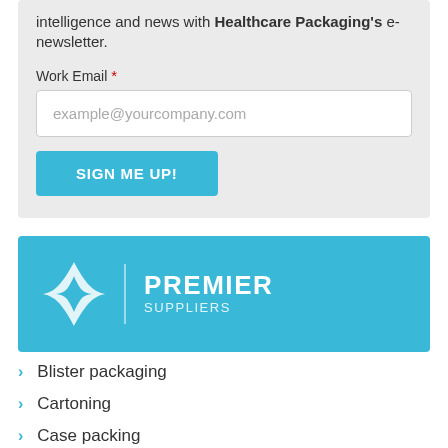intelligence and news with Healthcare Packaging's e-newsletter.
Work Email *
example@yourcompany.com
SIGN ME UP!
[Figure (logo): Premier Suppliers logo on cyan/blue background with white four-pointed star icon and vertical divider line]
Blister packaging
Cartoning
Case packing